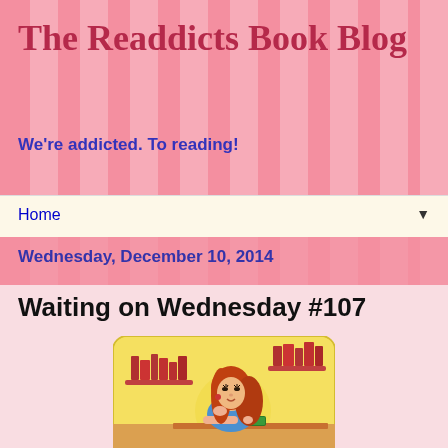The Readdicts Book Blog
We're addicted. To reading!
Home
Wednesday, December 10, 2014
Waiting on Wednesday #107
[Figure (illustration): Cartoon illustration of a red-haired woman in a blue top resting her chin on her hand, reading a book at a desk, with bookshelves with red books in the background, on a yellow/golden background in a rounded rectangle frame.]